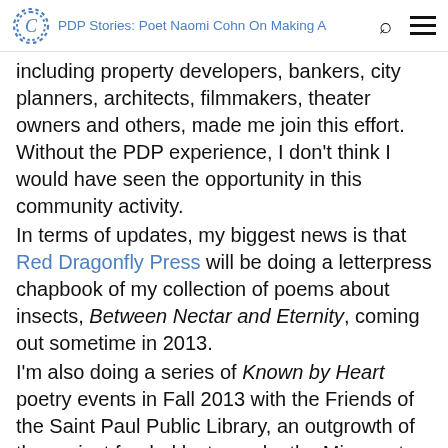PDP Stories: Poet Naomi Cohn On Making A...
including property developers, bankers, city planners, architects, filmmakers, theater owners and others, made me join this effort. Without the PDP experience, I don't think I would have seen the opportunity in this community activity.
In terms of updates, my biggest news is that Red Dragonfly Press will be doing a letterpress chapbook of my collection of poems about insects, Between Nectar and Eternity, coming out sometime in 2013.
I'm also doing a series of Known by Heart poetry events in Fall 2013 with the Friends of the Saint Paul Public Library, an outgrowth of the project funded last year by the Minnesota State Arts Board.
You can learn more about Creative Capital's Professional Development Program at http://creative-capital.org/pdp.